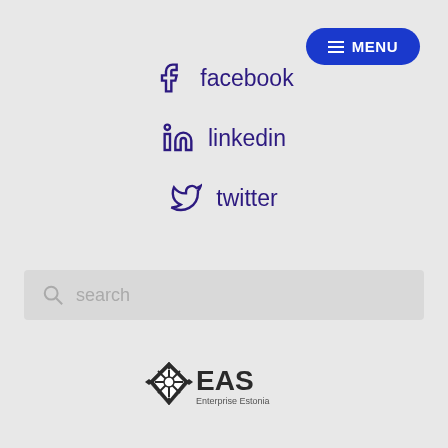[Figure (screenshot): Blue MENU button with hamburger icon lines, top right corner]
facebook
linkedin
twitter
[Figure (other): Search bar with magnifying glass icon and placeholder text 'search']
[Figure (logo): EAS Enterprise Estonia logo with geometric snowflake/diamond icon]